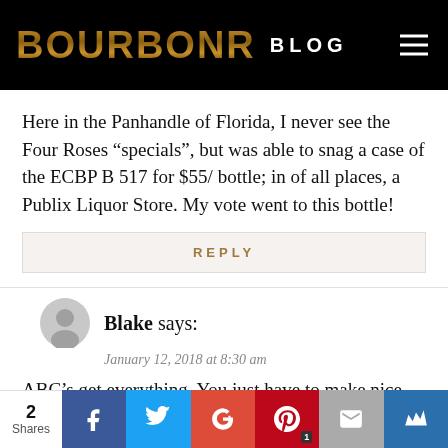BOURBONR BLOG
Here in the Panhandle of Florida, I never see the Four Roses “specials”, but was able to snag a case of the ECBP B 517 for $55/ bottle; in of all places, a Publix Liquor Store. My vote went to this bottle!
REPLY
Blake says:
January 12, 2018 at 8:30 am
ABC’s get everything. You just have to make nice with them as they’re usually behind the